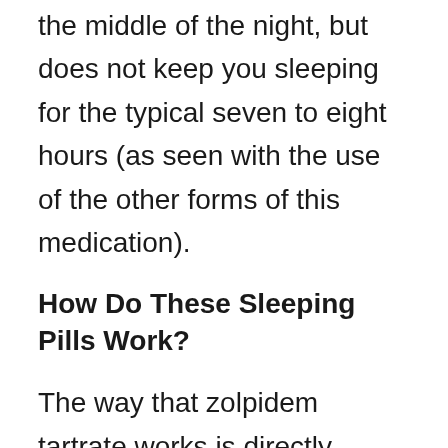the middle of the night, but does not keep you sleeping for the typical seven to eight hours (as seen with the use of the other forms of this medication).
How Do These Sleeping Pills Work?
The way that zolpidem tartrate works is directly related to the class of medications in which it falls. These pills are classified as non-benzodiazepines or “Z-drugs” as they are informally known.